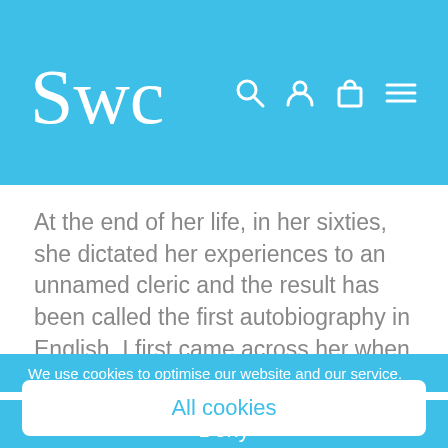SWC
At the end of her life, in her sixties, she dictated her experiences to an unnamed cleric and the result has been called the first autobiography in English. I first came across her when studying medieval English literature at college years ago and
We use cookies to optimise our website and our service.
All cookies
Deny